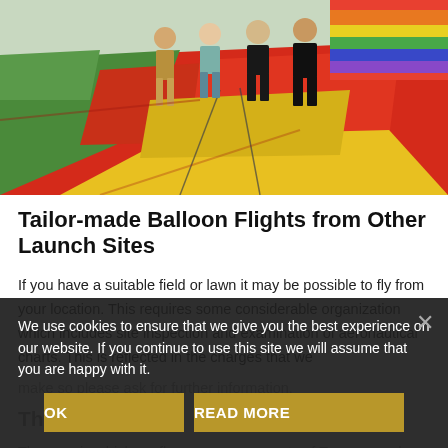[Figure (photo): People standing on a large colorful hot air balloon laid out on the ground, with vivid red, yellow, green and rainbow panels visible.]
Tailor-made Balloon Flights from Other Launch Sites
If you have a suitable field or lawn it may be possible to fly from your location. This requires some considerable organization which includes site inspection and examination of aeronautical charts. This is reflected in the charges that we make so please ask for further information.
The Landscape
The area in which we fly spans across parts of Tuscany and Umbria, it starts from Cortona and Montepulciano in the
We use cookies to ensure that we give you the best experience on our website. If you continue to use this site we will assume that you are happy with it.